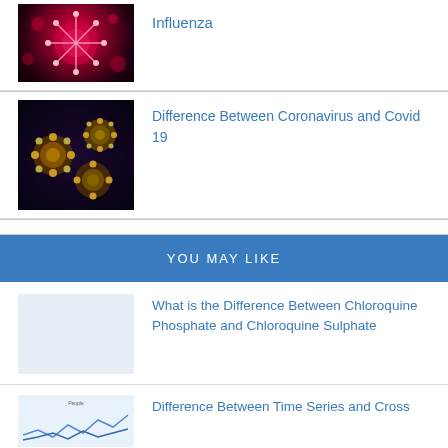[Figure (photo): Microscopic image of a red/pink virus particle against dark background]
Influenza
[Figure (photo): Microscopic image of coronavirus particles (orange/yellow) against dark blue background]
Difference Between Coronavirus and Covid 19
YOU MAY LIKE
[Figure (photo): Blank placeholder thumbnail]
What is the Difference Between Chloroquine Phosphate and Chloroquine Sulphate
[Figure (continuous-plot): Partial line chart thumbnail visible at bottom of page]
Difference Between Time Series and Cross